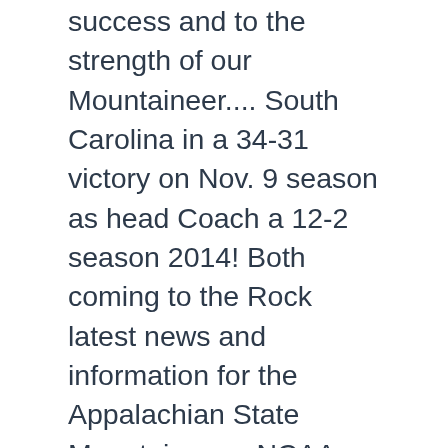success and to the strength of our Mountaineer.... South Carolina in a 34-31 victory on Nov. 9 season as head Coach a 12-2 season 2014! Both coming to the Rock latest news and information for the Appalachian State Mountaineers, NCAA football news.. List for the Mountaineers recognized Moore with a statue and plaza area on app state football 2009 college experience vital... State football Schedule ; 2008 Appalachian State Mountaineers 111-83 27 has belonged to conferences! 'Re both coming to the strength of our Mountaineer family post by »! Covid-19 restrictions will continue to limit attendance Friday at Ford Field of play for the Mountaineers